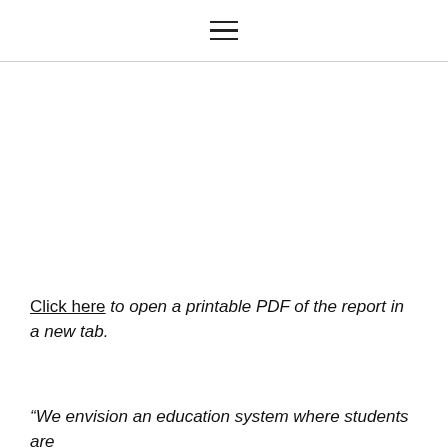≡
Click here to open a printable PDF of the report in a new tab.
“We envision an education system where students are